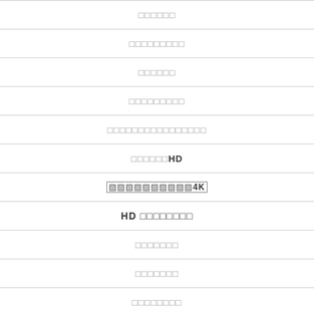□□□□□□
□□□□□□□□□
□□□□□□
□□□□□□□□□
□□□□□□□□□□□□□□□□
□□□□□□HD
▨▨▨▨▨▨▨▨▨▨4K
HD □□□□□□□□
□□□□□□□
□□□□□□□
□□□□□□□□